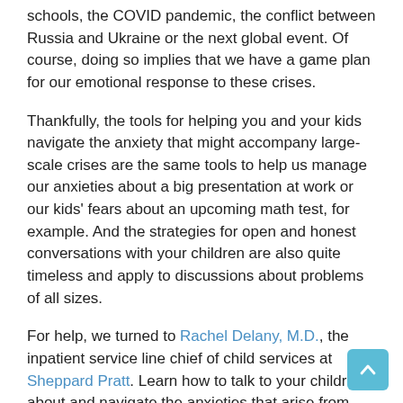schools, the COVID pandemic, the conflict between Russia and Ukraine or the next global event. Of course, doing so implies that we have a game plan for our emotional response to these crises.
Thankfully, the tools for helping you and your kids navigate the anxiety that might accompany large-scale crises are the same tools to help us manage our anxieties about a big presentation at work or our kids' fears about an upcoming math test, for example. And the strategies for open and honest conversations with your children are also quite timeless and apply to discussions about problems of all sizes.
For help, we turned to Rachel Delany, M.D., the inpatient service line chief of child services at Sheppard Pratt. Learn how to talk to your children about and navigate the anxieties that arise from tragedies such as the Robb Elementary School shooting, and small problems, like that upcoming math test.